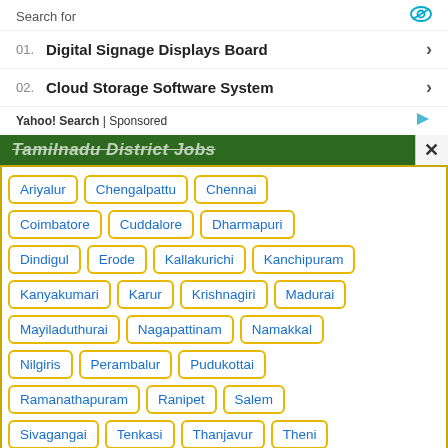Search for
01. Digital Signage Displays Board
02. Cloud Storage Software System
Yahoo! Search | Sponsored
Tamilnadu District Jobs
Ariyalur
Chengalpattu
Chennai
Coimbatore
Cuddalore
Dharmapuri
Dindigul
Erode
Kallakurichi
Kanchipuram
Kanyakumari
Karur
Krishnagiri
Madurai
Mayiladuthurai
Nagapattinam
Namakkal
Nilgiris
Perambalur
Pudukottai
Ramanathapuram
Ranipet
Salem
Sivagangai
Tenkasi
Thanjavur
Theni